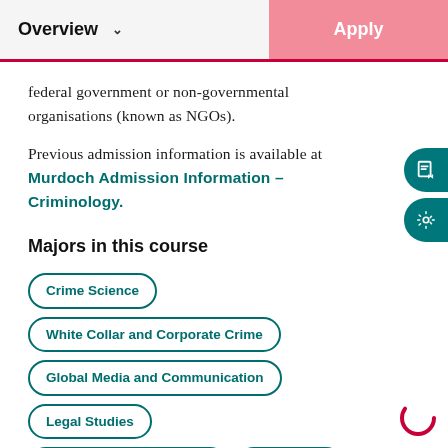Overview  Apply
federal government or non-governmental organisations (known as NGOs).
Previous admission information is available at Murdoch Admission Information – Criminology.
Majors in this course
Crime Science
White Collar and Corporate Crime
Global Media and Communication
Legal Studies
Strategic Communication
Journalism
Criminal Behaviour
Apply to start